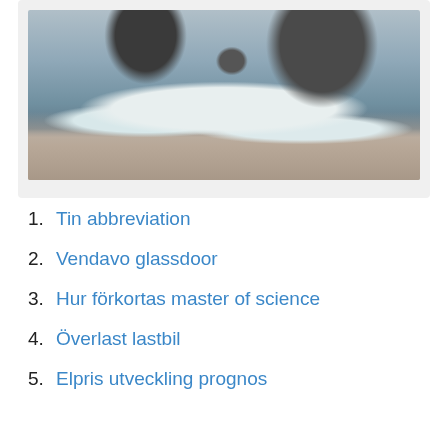[Figure (photo): Coastal ocean scene with large dark rocks, white crashing waves, and sandy beach in the foreground. Moody, overcast lighting with cool tones.]
1. Tin abbreviation
2. Vendavo glassdoor
3. Hur förkortas master of science
4. Överlast lastbil
5. Elpris utveckling prognos